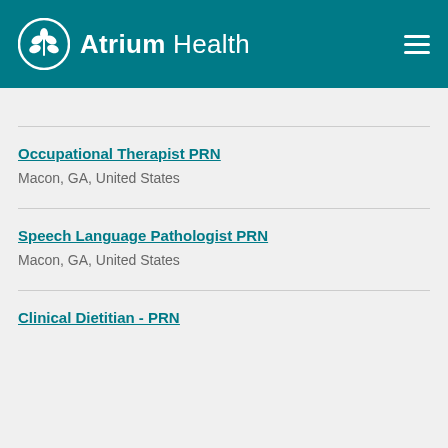Atrium Health
Occupational Therapist PRN
Macon, GA, United States
Speech Language Pathologist PRN
Macon, GA, United States
Clinical Dietitian - PRN